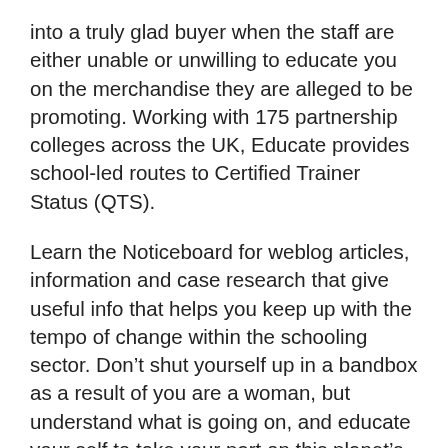into a truly glad buyer when the staff are either unable or unwilling to educate you on the merchandise they are alleged to be promoting. Working with 175 partnership colleges across the UK, Educate provides school-led routes to Certified Trainer Status (QTS).
Learn the Noticeboard for weblog articles, information and case research that give useful info that helps you keep up with the tempo of change within the schooling sector. Don't shut yourself up in a bandbox as a result of you are a woman, but understand what is going on, and educate your self to take your part on this planet's work, for all of it affects you and yours.
You can even look to be educated in his best curiosity to get a biology diploma on-line. Educate Texas applies its public-private teamwork philosophy by supporting the creation of Texas Science, Know-how, Engineering and Mathematics (T-STEM) Academies and Early